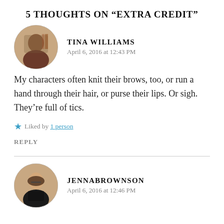5 THOUGHTS ON “EXTRA CREDIT”
[Figure (photo): Circular avatar photo of Tina Williams, a woman with brown hair in a library setting]
TINA WILLIAMS
April 6, 2016 at 12:43 PM
My characters often knit their brows, too, or run a hand through their hair, or purse their lips. Or sigh. They’re full of tics.
★ Liked by 1 person
REPLY
[Figure (photo): Circular avatar photo of Jenna Brownson, a smiling woman with glasses wearing a dark jacket]
JENNABROWNSON
April 6, 2016 at 12:46 PM